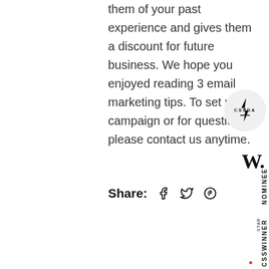them of your past experience and gives them a discount for future business. We hope you enjoyed reading 3 email marketing tips. To set up a campaign or for questions please contact us anytime.
[Figure (logo): CSSDA circular badge logo with lightning bolt icon]
[Figure (logo): W. logo in bold serif font]
Share:  f  twitter  pinterest
[Figure (illustration): Pink dotted circle with Benjamin Marc. text]
Nominee
CSSWINNER STAR